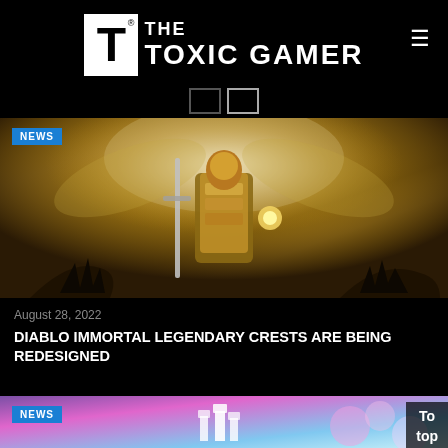[Figure (logo): The Toxic Gamer logo with large white T in black box and text THE TOXIC GAMER in white]
[Figure (photo): Fantasy warrior in golden armor holding sword with angelic wings background, NEWS badge overlay - Diablo Immortal artwork]
August 28, 2022
DIABLO IMMORTAL LEGENDARY CRESTS ARE BEING REDESIGNED
[Figure (photo): Colorful mobile game screenshot with purple/pink castle background, NEWS badge overlay, To top button visible]